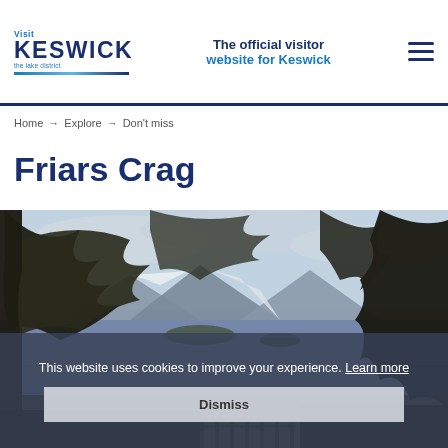Visit Keswick – The official visitor website for Keswick
Home → Explore → Don't miss
Friars Crag
[Figure (photo): Landscape photo of Derwentwater lake with pine trees in foreground and snow-capped mountains in background at Friars Crag, Keswick, Lake District]
This website uses cookies to improve your experience. Learn more Dismiss